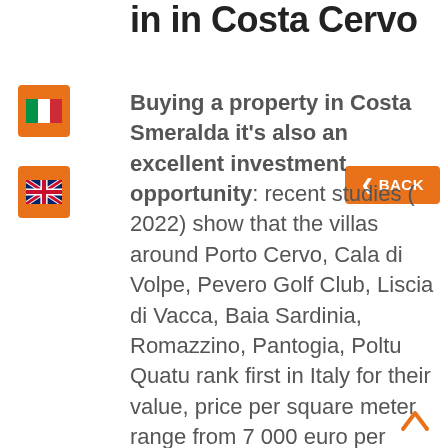in in Costa Cervo
Buying a property in Costa Smeralda it's also an excellent investment opportunity: recent studies ( 2022)  show that the villas around Porto Cervo, Cala di Volpe, Pevero Golf Club, Liscia di Vacca, Baia Sardinia, Romazzino, Pantogia, Poltu Quatu rank first in Italy for their value, price per square meter range from 7,000 euro per square